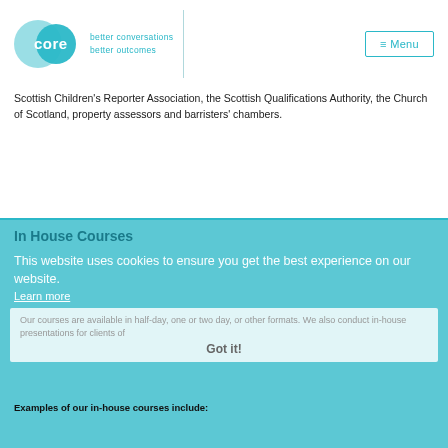[Figure (logo): CORE logo with two overlapping circles in teal/cyan colors and text 'better conversations better outcomes']
≡ Menu
Scottish Children's Reporter Association, the Scottish Qualifications Authority, the Church of Scotland, property assessors and barristers' chambers.
In House Courses
This website uses cookies to ensure you get the best experience on our website.
Learn more
Core works extensively with clients in-house, tailoring courses and training to specific needs and aspirations, in Scotland, England, Ireland and elsewhere.
Our courses are available in half-day, one or two day, or other formats.  We also conduct in-house presentations for clients of professional firms.
Got it!
Examples of our in-house courses include: